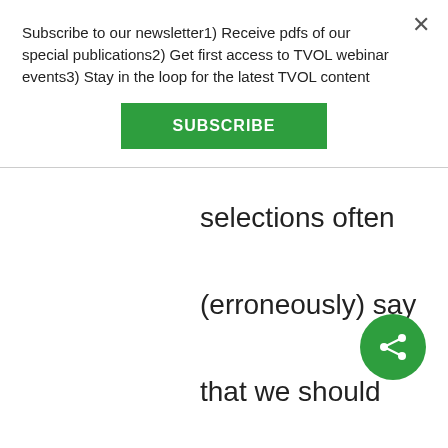Subscribe to our newsletter1) Receive pdfs of our special publications2) Get first access to TVOL webinar events3) Stay in the loop for the latest TVOL content
SUBSCRIBE
selections often (erroneously) say that we should leave the selfish gene aside. My opinion is that we need to build on it, leaving it aside will